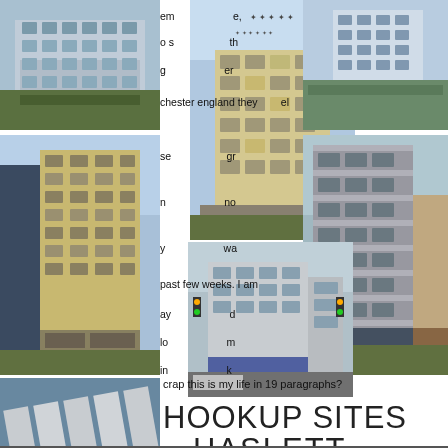[Figure (photo): Architectural rendering of a modern mid-rise residential building, gray facade, top-left]
[Figure (photo): Architectural rendering of a tall modern office/mixed-use building, beige/tan facade, center top spanning down]
[Figure (photo): Architectural rendering of a mid-rise residential building, white/blue facade, top-right]
[Figure (photo): Architectural rendering of a tall slender modern building, tan/gold facade, mid-left]
[Figure (photo): Architectural rendering of a mid-rise building on street corner, mid-center-bottom]
[Figure (photo): Architectural rendering of a tall concrete mid-rise building, dark gray facade, mid-right]
[Figure (photo): Aerial view of a waterfront residential development, bottom-left]
chester england they
se gr
n no
y wa
past few weeks. I am
ay d
lo m
in k
crap this is my life in 19 paragraphs?
HOOKUP SITES HASLETT